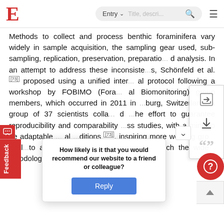E  Entry  Title, description  [search icon]  [menu]
Methods to collect and process benthic foraminifera vary widely in sample acquisition, the sampling gear used, sub-sampling, replication, preservation, preparation and analysis. In an attempt to address these inconsistencies, Schönfeld et al. [73] proposed using a unified international protocol following a workshop by FOBIMO (Foraminiferal Biomonitoring) group members, which occurred in 2011 in Freibourg, Switzerland. A group of 37 scientists collaborated and the effort to guarantee reproducibility and comparability across studies, with a mind to be adaptable to local conditions [73], inspiring more working groups worldwide to accept for contempor... every ch the wide hodology, the mom athoring
How likely is it that you would recommend our website to a friend or colleague?
Reply